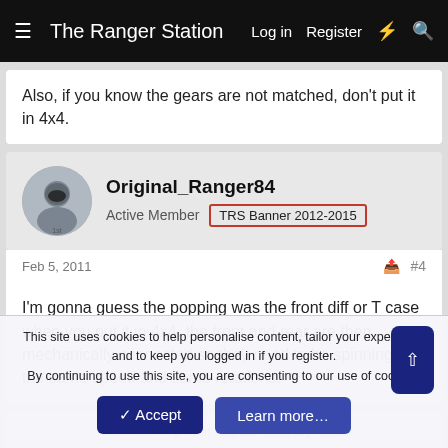The Ranger Station  Log in  Register
Also, if you know the gears are not matched, don't put it in 4x4.
Original_Ranger84
Active Member  TRS Banner 2012-2015
Feb 5, 2011  #4
I'm gonna guess the popping was the front diff or T case when you put it in 4x4. the front and rear are then mechanically connected so they need to be spinning at the same speed and same rotations.
You must log in or register to reply here.
This site uses cookies to help personalise content, tailor your experience and to keep you logged in if you register.
By continuing to use this site, you are consenting to our use of cookies.